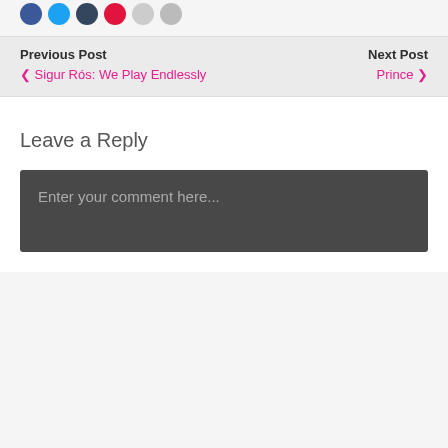[Figure (other): Row of social media icon circles (blue, light blue, dark blue, red, grey, grey) at top of page]
Previous Post
< Sigur Rós: We Play Endlessly
Next Post
Prince >
Leave a Reply
Enter your comment here...